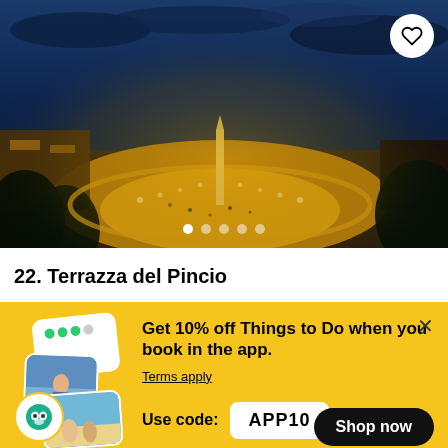[Figure (photo): Aerial night view of Piazza del Popolo in Rome, illuminated with golden lights, wide plaza with obelisk, surrounded by city lights and dark blue sky with clouds]
22. Terrazza del Pincio
[Figure (infographic): Promotional banner with travel app imagery including rating card, traveler photos, and TripAdvisor owl badge]
Get 10% off Things to Do when you book in the app.
Terms apply
Use code:  APP10
Shop now